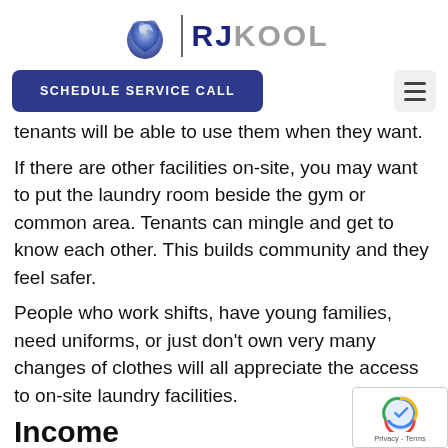[Figure (logo): RJ KOOL logo with stylized blue swirl icon and vertical divider followed by 'RJ KOOL' text in dark navy and grey]
[Figure (other): Navigation bar with 'SCHEDULE SERVICE CALL' button (dark blue/indigo rounded rectangle) and hamburger menu icon on the right]
tenants will be able to use them when they want.
If there are other facilities on-site, you may want to put the laundry room beside the gym or common area. Tenants can mingle and get to know each other. This builds community and they feel safer.
People who work shifts, have young families, need uniforms, or just don’t own very many changes of clothes will all appreciate the access to on-site laundry facilities.
Income